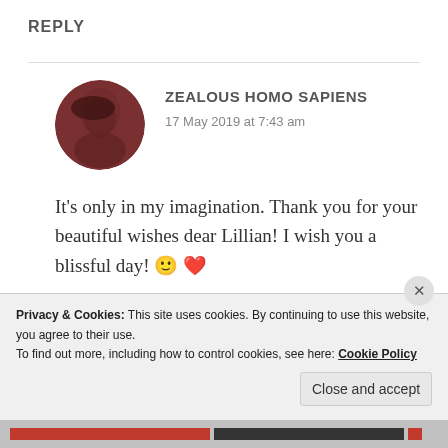REPLY
ZEALOUS HOMO SAPIENS
17 May 2019 at 7:43 am
It's only in my imagination. Thank you for your beautiful wishes dear Lillian! I wish you a blissful day! 🙂 ❤
Liked by 1 person
Privacy & Cookies: This site uses cookies. By continuing to use this website, you agree to their use.
To find out more, including how to control cookies, see here: Cookie Policy
Close and accept